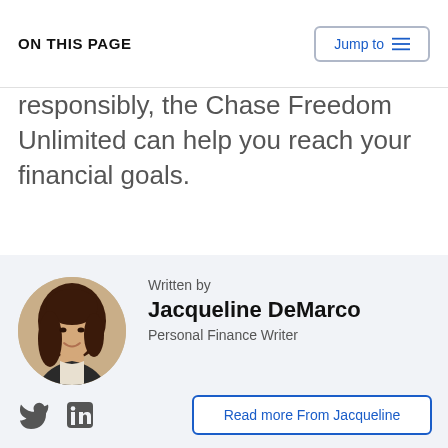ON THIS PAGE
responsibly, the Chase Freedom Unlimited can help you reach your financial goals.
Written by
Jacqueline DeMarco
Personal Finance Writer
Read more From Jacqueline
Jacqueline is a contributor for Bankrate and has worked with more than a dozen financial brands, including LendingTree, Credit